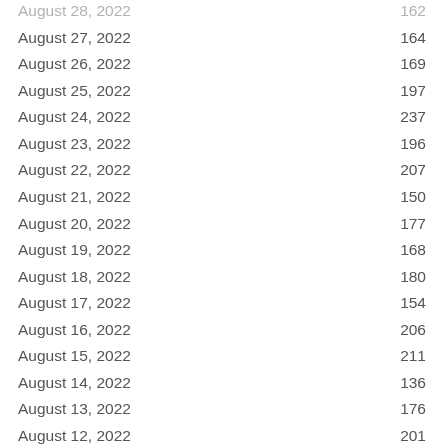| Date | Value |
| --- | --- |
| August 28, 2022 | 162 |
| August 27, 2022 | 164 |
| August 26, 2022 | 169 |
| August 25, 2022 | 197 |
| August 24, 2022 | 237 |
| August 23, 2022 | 196 |
| August 22, 2022 | 207 |
| August 21, 2022 | 150 |
| August 20, 2022 | 177 |
| August 19, 2022 | 168 |
| August 18, 2022 | 180 |
| August 17, 2022 | 154 |
| August 16, 2022 | 206 |
| August 15, 2022 | 211 |
| August 14, 2022 | 136 |
| August 13, 2022 | 176 |
| August 12, 2022 | 201 |
| August 11, 2022 | 189 |
| August 10, 2022 | 225 |
| August 9, 2022 | 197 |
| August 8, 2022 | 143 |
| August 7, 2022 | 144 |
| August 6, 2022 | 199 |
| August 5, 2022 | 226 |